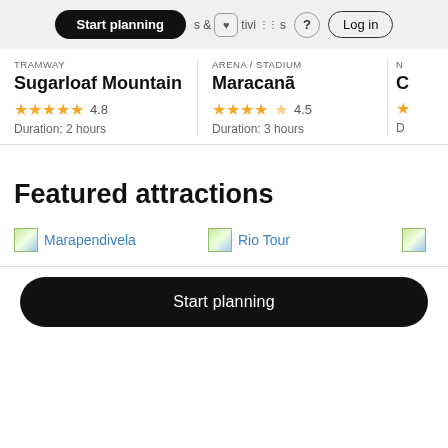Start planning | Activities | Log in
TRAMWAY
Sugarloaf Mountain
★★★★★ 4.8
Duration: 2 hours
ARENA / STADIUM
Maracanã
★★★★½ 4.5
Duration: 3 hours
Featured attractions
Marapendivela
Rio Tour
Start planning